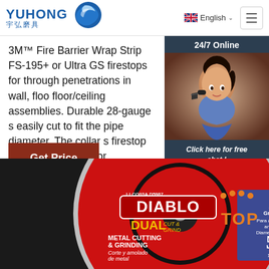YUHONG 宇弘磨具 | English | Navigation menu
3M™ Fire Barrier Wrap Strip FS-195+ or Ultra GS firestops for through penetrations in wall, floor/ceiling assemblies. Durable 28-gauge s easily cut to fit the pipe diameter. The collar s firestop and provides tabs for anchoring to w slabs, helping ensure stability for effective fir
Get Price
[Figure (photo): Chat widget showing 24/7 Online support with a female customer service representative wearing a headset, with 'Click here for free chat!' text and QUOTATION button]
[Figure (photo): Diablo brand dual cut & grind metal cutting & grinding disc, 5 inch, red and black circular grinding wheel for angle grinders]
[Figure (other): TOP badge with orange dot pattern and orange text]